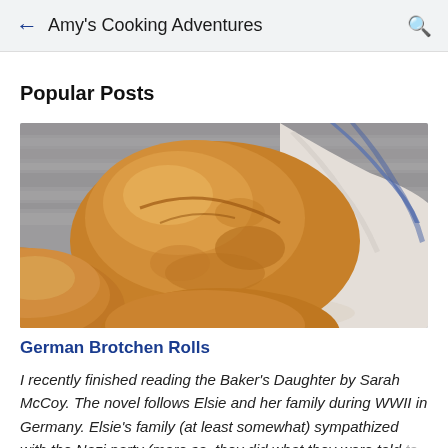← Amy's Cooking Adventures 🔍
Popular Posts
[Figure (photo): Photo of golden brown German Brotchen bread rolls in a basket with a white and blue striped cloth, on a gray wooden surface]
German Brotchen Rolls
I recently finished reading the Baker's Daughter by Sarah McCoy.  The novel follows Elsie and her family during WWII in Germany.  Elsie's family (at least somewhat) sympathized with the Nazi party (more so, they did what they were told to keep...